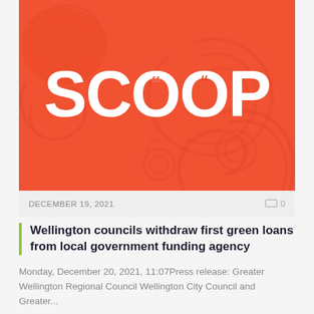[Figure (logo): Scoop media logo on orange-red background with decorative Māori-style koru/swirl patterns. White bold SCOOP lettering with red decorative quote marks inside the O characters.]
DECEMBER 19, 2021
0
Wellington councils withdraw first green loans from local government funding agency
Monday, December 20, 2021, 11:07Press release: Greater Wellington Regional Council Wellington City Council and Greater...